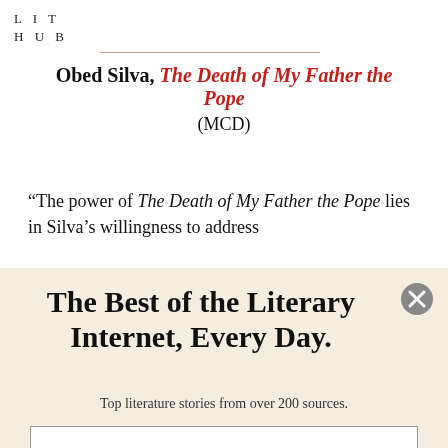LIT
HUB
Obed Silva, The Death of My Father the Pope (MCD)
“The power of The Death of My Father the Pope lies in Silva’s willingness to address
The Best of the Literary Internet, Every Day.
Top literature stories from over 200 sources.